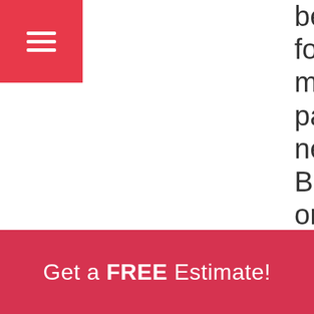[Figure (other): Red hamburger menu button in top-left corner with three white horizontal lines]
best for my particular needs. Bill ordered it and it came in on time. Installation was
Get a FREE Estimate!